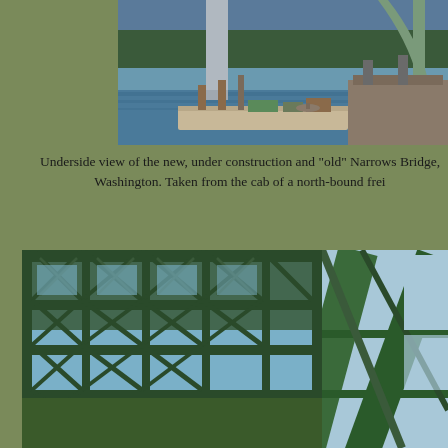[Figure (photo): Aerial/water-level view of the new under-construction Narrows Bridge alongside the old Narrows Bridge in Washington state, showing a large construction barge and tower pylon in water with forested hills in background]
Underside view of the new, under construction and "old" Narrows Bridge, Washington. Taken from the cab of a north-bound frei
[Figure (photo): Close-up underside view of the old Narrows Bridge steel truss structure, showing green painted metal lattice framework from below]
[Figure (photo): Close-up view of the Narrows Bridge steel truss structure from another angle, showing green metal diagonal support beams against a light blue sky]